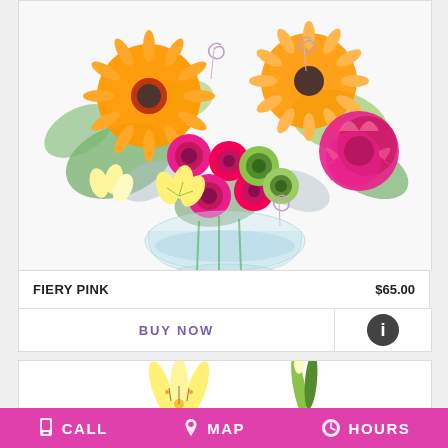[Figure (photo): Floral bouquet called FIERY PINK with orange gerbera daisies, hot pink roses, red carnations, green button mums, yellow alstroemeria, and decorative silver spiral picks in a glass bowl vase]
FIERY PINK
$65.00
BUY NOW
[Figure (photo): Partial view of a second floral arrangement with yellow lilies, just the top portion visible]
CALL   MAP   HOURS